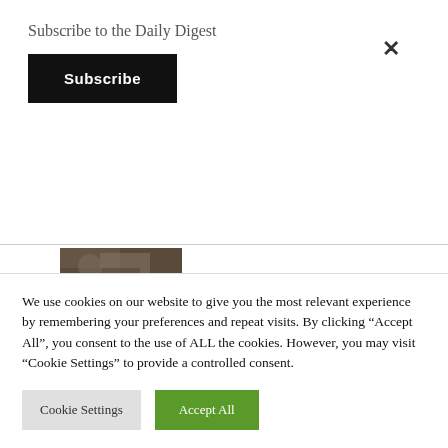Subscribe to the Daily Digest
[Figure (screenshot): Black Subscribe button]
[Figure (photo): Partial thumbnail of article image (top of page, partially visible)]
[Figure (illustration): Animated guide thumbnail with cartoon imagery on green background with chevron overlay]
A Powerful Animated Guide About Where Not to Seek for Happiness
Culture, Philosophy, Religion, Western Civilization
We use cookies on our website to give you the most relevant experience by remembering your preferences and repeat visits. By clicking “Accept All”, you consent to the use of ALL the cookies. However, you may visit "Cookie Settings" to provide a controlled consent.